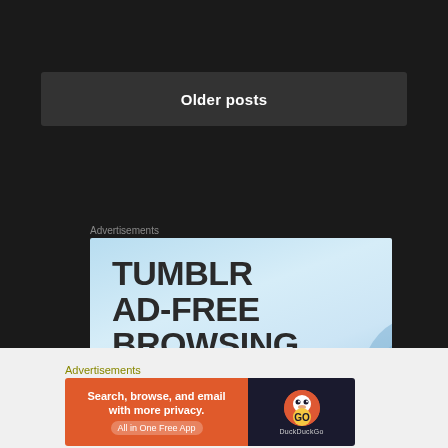Older posts
Advertisements
[Figure (screenshot): Tumblr AD-FREE BROWSING advertisement banner with light blue gradient background and bold dark text]
Advertisements
[Figure (screenshot): DuckDuckGo advertisement: Search, browse, and email with more privacy. All in One Free App - with orange background and DuckDuckGo logo on dark right panel]